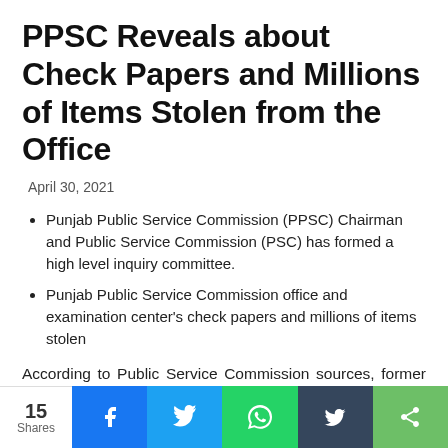PPSC Reveals about Check Papers and Millions of Items Stolen from the Office
April 30, 2021
Punjab Public Service Commission (PPSC) Chairman and Public Service Commission (PSC) has formed a high level inquiry committee.
Punjab Public Service Commission office and examination center's check papers and millions of items stolen
According to Public Service Commission sources, former director Muhammad Ali Bhatti, former deputy secretary Iftikhar Anjum
15 Shares | f | t (twitter) | WhatsApp | Tumblr | Share